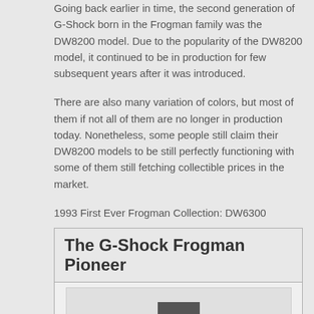Going back earlier in time, the second generation of G-Shock born in the Frogman family was the DW8200 model. Due to the popularity of the DW8200 model, it continued to be in production for few subsequent years after it was introduced.
There are also many variation of colors, but most of them if not all of them are no longer in production today. Nonetheless, some people still claim their DW8200 models to be still perfectly functioning with some of them still fetching collectible prices in the market.
1993 First Ever Frogman Collection: DW6300
[Figure (other): A framed card element with title 'The G-Shock Frogman Pioneer' and an image placeholder below showing a partial watch photograph]